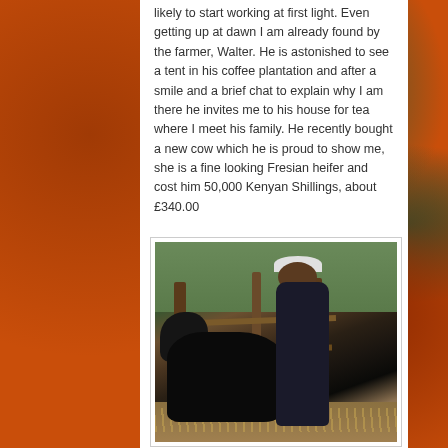likely to start working at first light. Even getting up at dawn I am already found by the farmer, Walter. He is astonished to see a tent in his coffee plantation and after a smile and a brief chat to explain why I am there he invites me to his house for tea where I meet his family. He recently bought a new cow which he is proud to show me, she is a fine looking Fresian heifer and cost him 50,000 Kenyan Shillings, about £340.00
[Figure (photo): A farmer named Walter standing inside a wooden log fence/pen with a black Fresian heifer cow. The man is wearing a dark tracksuit and a white cap. The pen is made of rough-hewn logs. Background shows green trees and vegetation.]